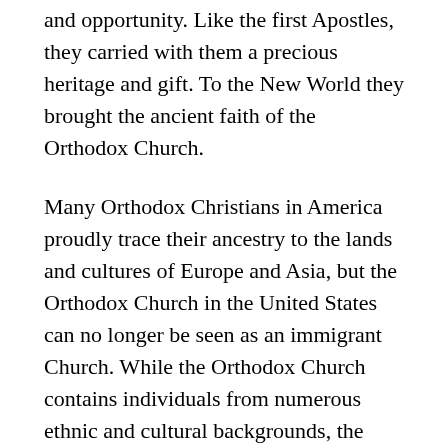and opportunity. Like the first Apostles, they carried with them a precious heritage and gift. To the New World they brought the ancient faith of the Orthodox Church.
Many Orthodox Christians in America proudly trace their ancestry to the lands and cultures of Europe and Asia, but the Orthodox Church in the United States can no longer be seen as an immigrant Church. While the Orthodox Church contains individuals from numerous ethnic and cultural backgrounds, the majority of her membership is composed of persons who have been born in America. In recognition of this, Orthodoxy has been formally acknowledged as one of the Four Major Faiths in the United States. Following the practice of the Early Church,